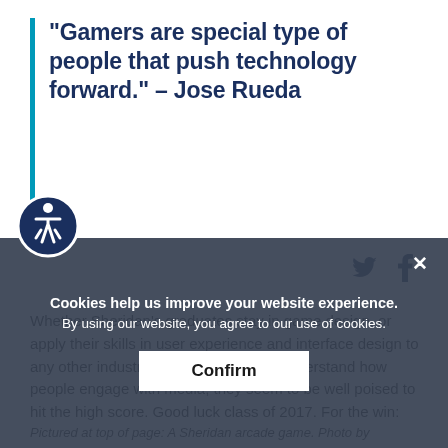“Gamers are special type of people that push technology forward.” – Jose Rueda
[Figure (other): Twitter and Facebook social share icons in dark navy color]
Whether Sheridan’s graduates stay in game design, or apply their skills in user experience and interface design to any other industries that now need to understand how people engage with media, they seem to be well poised to hit the high score. Good luck class of 2017. For the win:
Cookies help us improve your website experience. By using our website, you agree to our use of cookies.
Confirm
Pictured at top of page: A Sheridan arcade game. Photo by